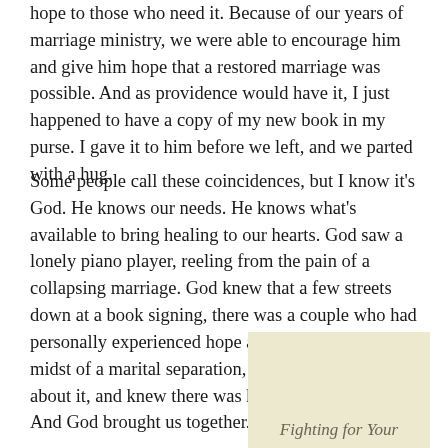hope to those who need it. Because of our years of marriage ministry, we were able to encourage him and give him hope that a restored marriage was possible. And as providence would have it, I just happened to have a copy of my new book in my purse. I gave it to him before we left, and we parted with a hug.
Some people call these coincidences, but I know it's God. He knows our needs. He knows what's available to bring healing to our hearts. God saw a lonely piano player, reeling from the pain of a collapsing marriage. God knew that a few streets down at a book signing, there was a couple who had personally experienced hope and healing in the midst of a marital separation, had written books about it, and knew there was hope for him as well. And God brought us together.
[Figure (illustration): Book cover with beige/cream background, italic text reading 'Fighting for Your']